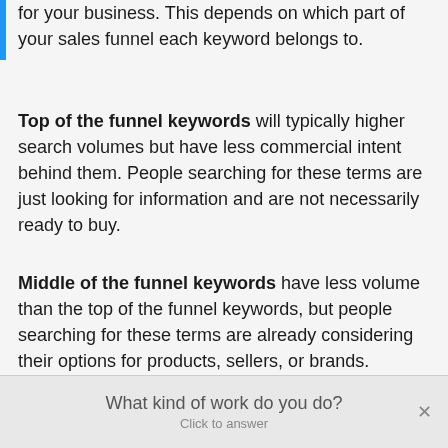for your business. This depends on which part of your sales funnel each keyword belongs to.
Top of the funnel keywords will typically higher search volumes but have less commercial intent behind them. People searching for these terms are just looking for information and are not necessarily ready to buy.
Middle of the funnel keywords have less volume than the top of the funnel keywords, but people searching for these terms are already considering their options for products, sellers, or brands.
Bottom of the funnel keywords have the lowest
What kind of work do you do? Click to answer